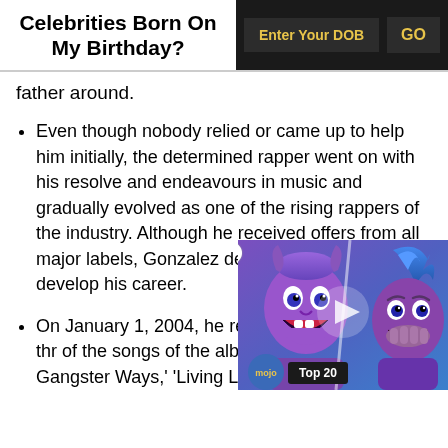Celebrities Born On My Birthday?
father around.
Even though nobody relied or came up to help him initially, the determined rapper went on with his resolve and endeavours in music and gradually evolved as one of the rising rappers of the industry. Although he received offers from all major labels, Gonzalez decided to independently develop his career.
On January 1, 2004, he rel County's Most Wanted' thr of the songs of the album a Gangster Ways,' 'Living Lif
[Figure (screenshot): Video overlay showing animated Disney-style characters (Hades and another character) in purple/blue tones, with a WatchMojo Top 20 badge and play button. A close button (X) appears in the top-left corner of the overlay.]